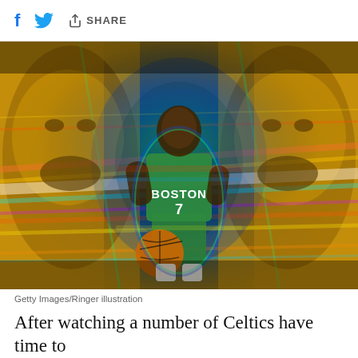f [twitter] [share] SHARE
[Figure (illustration): Artistic illustration of a Boston Celtics player wearing jersey number 7 in green uniform dribbling a basketball, centered in frame with psychedelic colorful background of blues, greens, yellows and reds. Two mirrored portrait images of a face appear on left and right sides with a golden/yellow tone. Getty Images/Ringer illustration.]
Getty Images/Ringer illustration
After watching a number of Celtics have time to